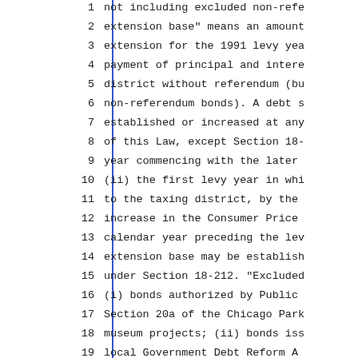1   not including excluded non-refe
2   extension base" means an amount
3   extension for the 1991 levy yea
4   payment of principal and intere
5   district without referendum (bu
6   non-referendum bonds). A debt s
7   established or increased at any
8   of this Law, except Section 18-
9   year commencing with the later
10  (ii) the first levy year in whi
11  to the taxing district, by the
12  increase in the Consumer Price
13  calendar year preceding the lev
14  extension base may be establish
15  under Section 18-212. "Excluded
16  (i) bonds authorized by Public
17  Section 20a of the Chicago Park
18  museum projects; (ii) bonds iss
19  local Government Debt Reform A